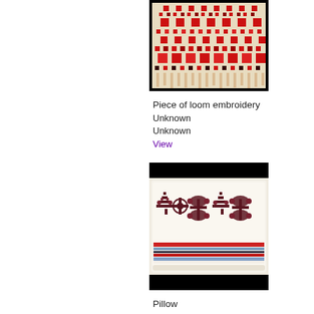[Figure (photo): Photo of a piece of loom embroidery — red geometric and floral cross-stitch patterns on white fabric, shown vertically, with black background at top and bottom edges.]
Piece of loom embroidery
Unknown
Unknown
View
[Figure (photo): Photo of a pillow with embroidered folk pattern — dark red geometric tree/flower motifs on off-white fabric, with horizontal decorative border in blue and red near bottom. Black band at top and bottom of image.]
Pillow
Unknown
Unknown
View